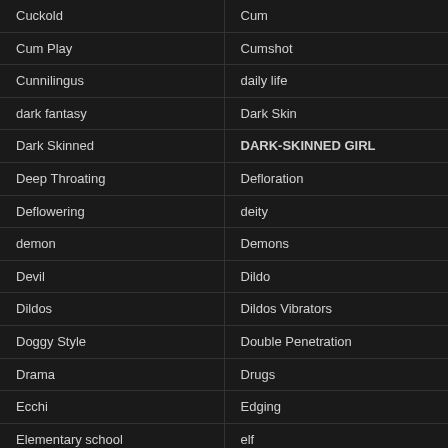Cuckold
Cum
Cum Play
Cumshot
Cunnilingus
daily life
dark fantasy
Dark Skin
Dark Skinned
DARK-SKINNED GIRL
Deep Throating
Defloration
Deflowering
deity
demon
Demons
Devil
Dildo
Dildos
Dildos Vibrators
Doggy Style
Double Penetration
Drama
Drugs
Ecchi
Edging
Elementary school
elf
Elves
ENEMA